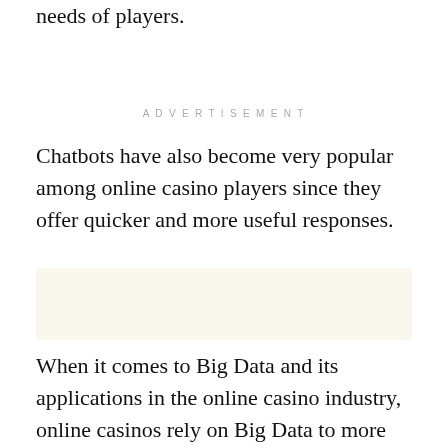needs of players.
ADVERTISEMENT
Chatbots have also become very popular among online casino players since they offer quicker and more useful responses.
[Figure (other): Advertisement placeholder box with light cream background]
When it comes to Big Data and its applications in the online casino industry, online casinos rely on Big Data to more efficiently collect crucial information about their customers' gaming activities.
And when we talk about Big Data, there are more